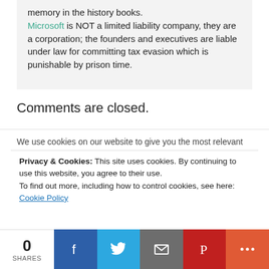memory in the history books. Microsoft is NOT a limited liability company, they are a corporation; the founders and executives are liable under law for committing tax evasion which is punishable by prison time.
Comments are closed.
We use cookies on our website to give you the most relevant
Privacy & Cookies: This site uses cookies. By continuing to use this website, you agree to their use. To find out more, including how to control cookies, see here: Cookie Policy
0 SHARES | Facebook | Twitter | Email | Pinterest | More